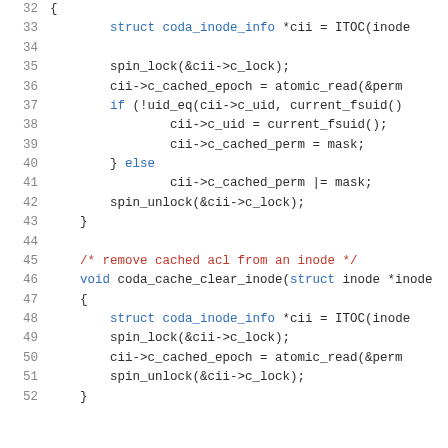[Figure (screenshot): Source code listing in C showing lines 32-52. Syntax-highlighted code with line numbers on left. Shows two functions: one completing with spin_lock, cached epoch assignment, uid check, and spin_unlock; and coda_cache_clear_inode function with similar pattern.]